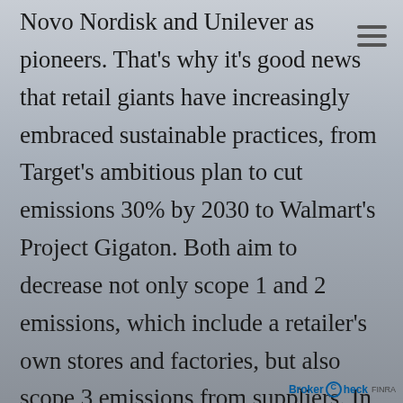Novo Nordisk and Unilever as pioneers. That's why it's good news that retail giants have increasingly embraced sustainable practices, from Target's ambitious plan to cut emissions 30% by 2030 to Walmart's Project Gigaton. Both aim to decrease not only scope 1 and 2 emissions, which include a retailer's own stores and factories, but also scope 3 emissions from suppliers. In this way, the rising tide may lift all green projects.

Their ESG efforts aren't limited to reducing their carbon footprint, however. Both major